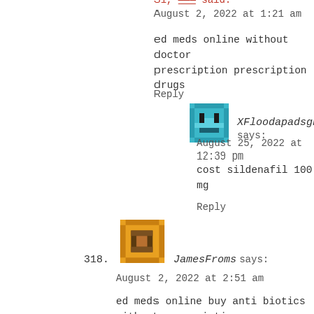August 2, 2022 at 1:21 am
ed meds online without doctor prescription prescription drugs
Reply
XFloodapadsgn says:
August 25, 2022 at 12:39 pm
cost sildenafil 100 mg
Reply
318. JamesFroms says:
August 2, 2022 at 2:51 am
ed meds online buy anti biotics without prescription
Reply
XFloodapadsiv says:
August 24, 2022 at 1:55 am
buy kamagra 50mg online
Reply